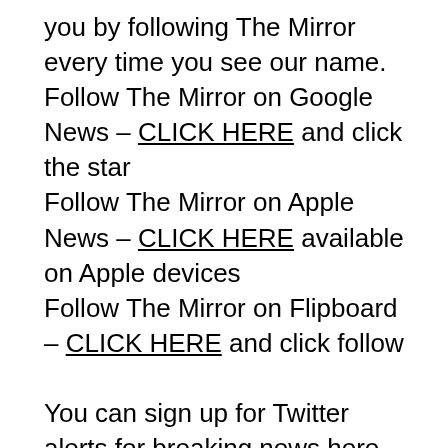you by following The Mirror every time you see our name.
Follow The Mirror on Google News – CLICK HERE and click the star
Follow The Mirror on Apple News – CLICK HERE available on Apple devices
Follow The Mirror on Flipboard – CLICK HERE and click follow

You can sign up for Twitter alerts for breaking news here @MirrorBreaking_ and follow us @DailyMirror , for all the latest updates. Keep up-to-date with your must-see news, features, videos and pictures throughout the day by following us on Facebook at